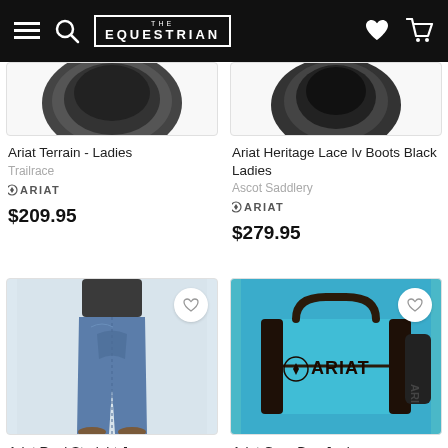THE EQUESTRIAN — navigation bar with menu, search, logo, heart and cart icons
[Figure (photo): Partial top view of Ariat Terrain Ladies shoe, dark/black color, clipped at top]
Ariat Terrain - Ladies
Trailrace
[Figure (logo): Ariat brand logo]
$209.95
[Figure (photo): Partial top view of Ariat Heritage Lace Iv Boots Black Ladies, dark color, clipped at top]
Ariat Heritage Lace Iv Boots Black Ladies
Ascot Saddlery
[Figure (logo): Ariat brand logo]
$279.95
[Figure (photo): Ariat Real Straight Jeans — back view of woman wearing blue denim straight jeans and dark top]
Ariat Real Straight Jeans
[Figure (photo): Ariat Gear Bag Junior — turquoise and dark brown/black duffel bag with ARIAT branding]
Ariat Gear Bag Junior